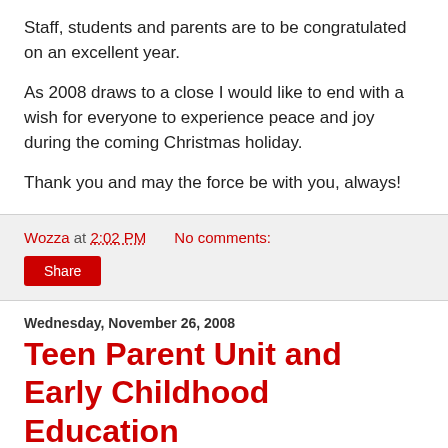Staff, students and parents are to be congratulated on an excellent year.
As 2008 draws to a close I would like to end with a wish for everyone to experience peace and joy during the coming Christmas holiday.
Thank you and may the force be with you, always!
Wozza at 2:02 PM    No comments:
Share
Wednesday, November 26, 2008
Teen Parent Unit and Early Childhood Education
A few weeks ago I went to Masterton's Makoura College to see Wairarapa's Teen Parent Unit (TPU) and Early Childhood Education (ECE) centre with Raewyn Rooney